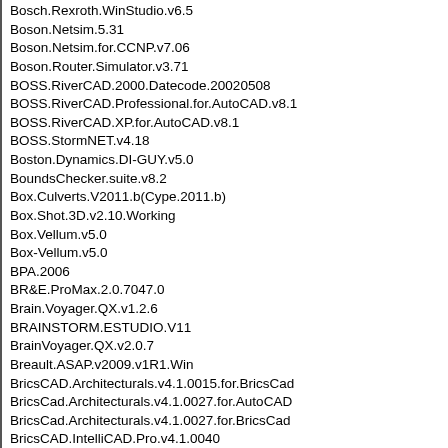Bosch.Rexroth.WinStudio.v6.5
Boson.Netsim.5.31
Boson.Netsim.for.CCNP.v7.06
Boson.Router.Simulator.v3.71
BOSS.RiverCAD.2000.Datecode.20020508
BOSS.RiverCAD.Professional.for.AutoCAD.v8.1
BOSS.RiverCAD.XP.for.AutoCAD.v8.1
BOSS.StormNET.v4.18
Boston.Dynamics.DI-GUY.v5.0
BoundsChecker.suite.v8.2
Box.Culverts.V2011.b(Cype.2011.b)
Box.Shot.3D.v2.10.Working
Box.Vellum.v5.0
Box-Vellum.v5.0
BPA.2006
BR&E.ProMax.2.0.7047.0
Brain.Voyager.QX.v1.2.6
BRAINSTORM.ESTUDIO.V11
BrainVoyager.QX.v2.0.7
Breault.ASAP.v2009.v1R1.Win
BricsCAD.Architecturals.v4.1.0015.for.BricsCad
BricsCad.Architecturals.v4.1.0027.for.AutoCAD
BricsCad.Architecturals.v4.1.0027.for.BricsCad
BricsCAD.IntelliCAD.Pro.v4.1.0040
BricsCad.Platinium.v13.1.11.41196
BricsCad.Structural.Frames.for.Architecturals.v2.1.0002
BricsCad.Structural.Frames.v2.1.0004
BRIO.REPORTS.V6.2
Broderbund.3D.Home.Architect.Professional.5.0.2CD
Broderbund.3D.Home.Design.Deluxe.v6.0